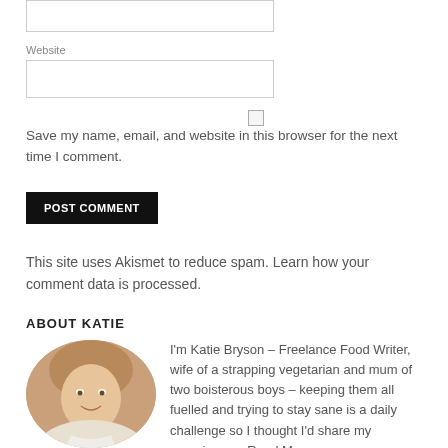Website
[Figure (other): Website text input field (empty)]
[Figure (other): Checkbox (unchecked) for saving browser info]
Save my name, email, and website in this browser for the next time I comment.
POST COMMENT
This site uses Akismet to reduce spam. Learn how your comment data is processed.
ABOUT KATIE
[Figure (photo): Circular portrait photo of Katie Bryson, a smiling woman with light brown hair]
I'm Katie Bryson – Freelance Food Writer, wife of a strapping vegetarian and mum of two boisterous boys – keeping them all fuelled and trying to stay sane is a daily challenge so I thought I'd share my experiences. Read More...